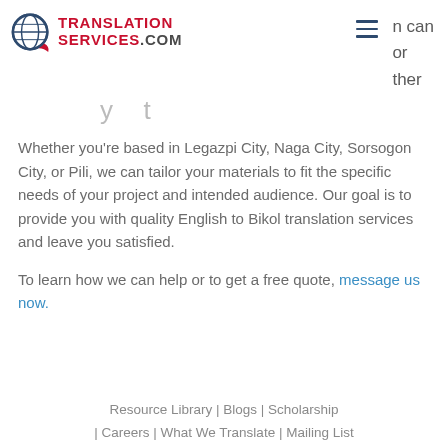TranslationServices.com logo header with hamburger menu and partial nav text: n can or ther
y t
Whether you're based in Legazpi City, Naga City, Sorsogon City, or Pili, we can tailor your materials to fit the specific needs of your project and intended audience. Our goal is to provide you with quality English to Bikol translation services and leave you satisfied.
To learn how we can help or to get a free quote, message us now.
Resource Library | Blogs | Scholarship | Careers | What We Translate | Mailing List